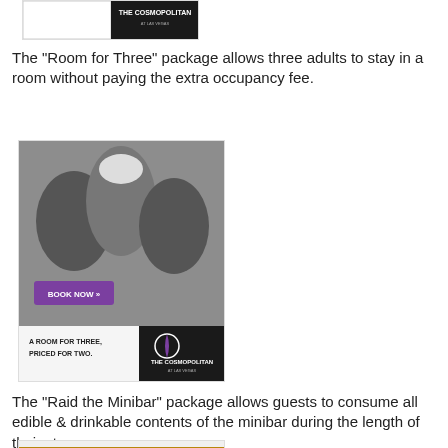[Figure (photo): Partial view of The Cosmopolitan of Las Vegas advertisement, black and dark background with hotel logo, cropped at top of page]
The "Room for Three" package allows three adults to stay in a room without paying the extra occupancy fee.
[Figure (photo): The Cosmopolitan of Las Vegas 'Room for Three, Priced for Two' advertisement. Black and white photo of three glamorous adults (two men in suits, one blonde woman in white dress). Purple 'BOOK NOW' button overlay. Bottom area shows text 'A ROOM FOR THREE, PRICED FOR TWO.' on white left panel and The Cosmopolitan logo on dark right panel.]
The "Raid the Minibar" package allows guests to consume all edible & drinkable contents of the minibar during the length of their stay.
[Figure (photo): Partial view of another Cosmopolitan advertisement, cropped at the bottom of the page, showing what appears to be minibar contents]